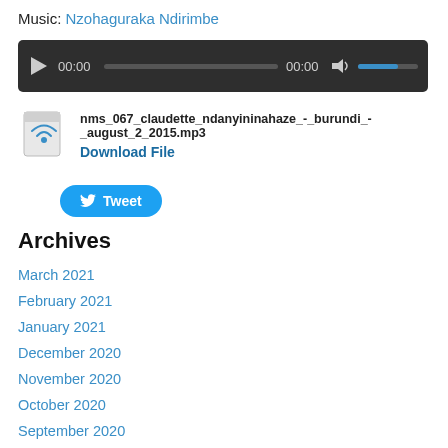Music: Nzohaguraka Ndirimbe
[Figure (other): Audio player widget with dark background, play button, time display 00:00 / 00:00, progress bar, volume icon and volume bar]
nms_067_claudette_ndanyininahaze_-_burundi_-_august_2_2015.mp3
Download File
[Figure (other): Audio file document icon with wireless/wifi signal graphic]
Tweet
Archives
March 2021
February 2021
January 2021
December 2020
November 2020
October 2020
September 2020
August 2020
July 2020
June 2020